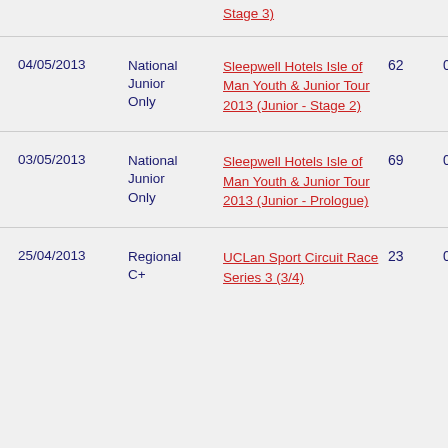| Date | Category | Race | Pos | Pts |
| --- | --- | --- | --- | --- |
|  |  | Stage 3) |  |  |
| 04/05/2013 | National Junior Only | Sleepwell Hotels Isle of Man Youth & Junior Tour 2013 (Junior - Stage 2) | 62 | 0 |
| 03/05/2013 | National Junior Only | Sleepwell Hotels Isle of Man Youth & Junior Tour 2013 (Junior - Prologue) | 69 | 0 |
| 25/04/2013 | Regional C+ | UCLan Sport Circuit Race Series 3 (3/4) | 23 | 0 |